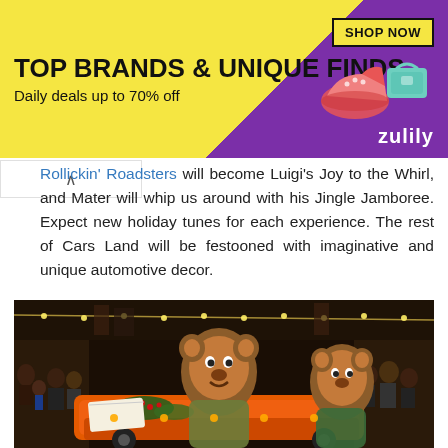[Figure (other): Advertisement banner for Zulily: 'TOP BRANDS & UNIQUE FINDS / Daily deals up to 70% off' with SHOP NOW button, shoe and bag images, yellow and purple background.]
Rollickin' Roadsters will become Luigi's Joy to the Whirl, and Mater will whip us around with his Jingle Jamboree. Expect new holiday tunes for each experience. The rest of Cars Land will be festooned with imaginative and unique automotive decor.
[Figure (photo): Night-time holiday parade scene in Cars Land featuring costumed bear-like characters on an orange vehicle decorated with holiday greenery and berries, with festive lights and crowd in background.]